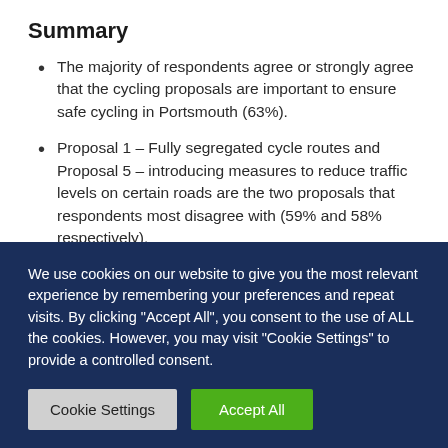Summary
The majority of respondents agree or strongly agree that the cycling proposals are important to ensure safe cycling in Portsmouth (63%).
Proposal 1 – Fully segregated cycle routes and Proposal 5 – introducing measures to reduce traffic levels on certain roads are the two proposals that respondents most disagree with (59% and 58% respectively).
We use cookies on our website to give you the most relevant experience by remembering your preferences and repeat visits. By clicking "Accept All", you consent to the use of ALL the cookies. However, you may visit "Cookie Settings" to provide a controlled consent.